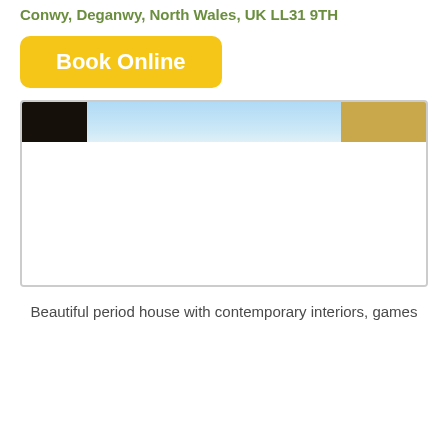Conwy, Deganwy, North Wales, UK LL31 9TH
Book Online
[Figure (photo): Exterior photo of a period house showing a strip of sky and roofline, partially loaded/visible]
Beautiful period house with contemporary interiors, games